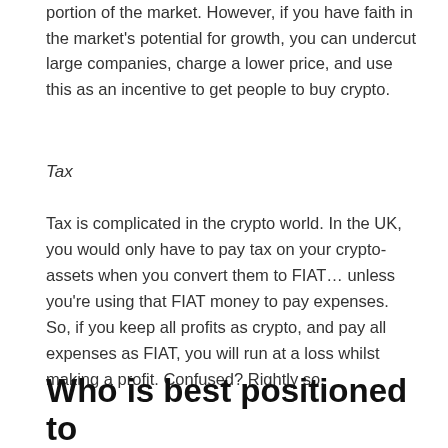portion of the market. However, if you have faith in the market's potential for growth, you can undercut large companies, charge a lower price, and use this as an incentive to get people to buy crypto.
Tax
Tax is complicated in the crypto world. In the UK, you would only have to pay tax on your crypto-assets when you convert them to FIAT… unless you're using that FIAT money to pay expenses. So, if you keep all profits as crypto, and pay all expenses as FIAT, you will run at a loss whilst making a profit. Confused? Rightly so.
Who is best positioned to